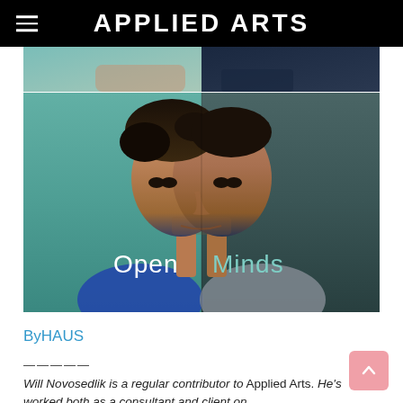APPLIED ARTS
[Figure (photo): Composite split-face portrait of a man against teal and dark teal background with 'Open Minds' text overlay. Left half shows warmer teal background, right half shows darker teal. The word 'Open' appears in white and 'Minds' in teal/mint color.]
ByHAUS
—————
Will Novosedlik is a regular contributor to Applied Arts. He's worked both as a consultant and client on